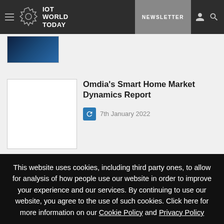IOT WORLD TODAY | NEWSLETTER
[Figure (photo): Partial view of a dark blue technology article thumbnail image]
Omdia's Smart Home Market Dynamics Report
7th January 2022
This website uses cookies, including third party ones, to allow for analysis of how people use our website in order to improve your experience and our services. By continuing to use our website, you agree to the use of such cookies. Click here for more information on our Cookie Policy and Privacy Policy
Accept and Close ✕
Your browser settings do not allow cross-site tracking for advertising. Click on this page to allow AdRoll to use cross-site tracking to tailor ads to you. Learn more or opt out of this AdRoll tracking by clicking here. This message only appears once.